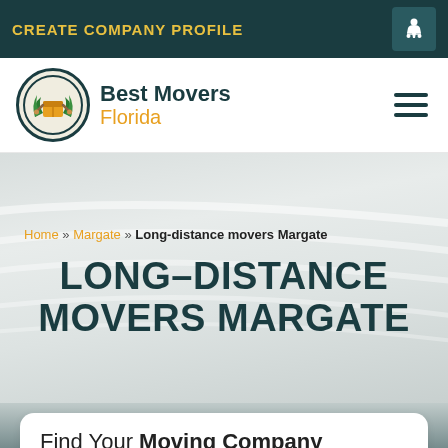CREATE COMPANY PROFILE
[Figure (logo): Best Movers Florida logo with a cartoon character holding a box surrounded by palm trees in a circle, beside text 'Best Movers Florida']
Home » Margate » Long-distance movers Margate
LONG-DISTANCE MOVERS MARGATE
Find Your Moving Company